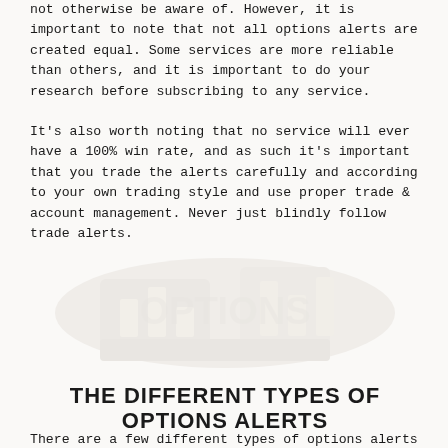not otherwise be aware of. However, it is important to note that not all options alerts are created equal. Some services are more reliable than others, and it is important to do your research before subscribing to any service.
It's also worth noting that no service will ever have a 100% win rate, and as such it's important that you trade the alerts carefully and according to your own trading style and use proper trade & account management. Never just blindly follow trade alerts.
[Figure (illustration): Faded watermark-style background illustration with large shadowy trading/finance related graphic]
THE DIFFERENT TYPES OF OPTIONS ALERTS
There are a few different types of options alerts that